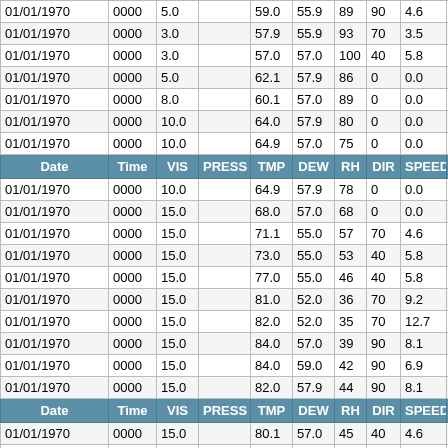| Date | Time | VIS | PRESS | TMP | DEW | RH | DIR | SPEED | GS |
| --- | --- | --- | --- | --- | --- | --- | --- | --- | --- |
| 01/01/1970 | 0000 | 5.0 |  | 59.0 | 55.9 | 89 | 90 | 4.6 |  |
| 01/01/1970 | 0000 | 3.0 |  | 57.9 | 55.9 | 93 | 70 | 3.5 |  |
| 01/01/1970 | 0000 | 3.0 |  | 57.0 | 57.0 | 100 | 40 | 5.8 |  |
| 01/01/1970 | 0000 | 5.0 |  | 62.1 | 57.9 | 86 | 0 | 0.0 |  |
| 01/01/1970 | 0000 | 8.0 |  | 60.1 | 57.0 | 89 | 0 | 0.0 |  |
| 01/01/1970 | 0000 | 10.0 |  | 64.0 | 57.9 | 80 | 0 | 0.0 |  |
| 01/01/1970 | 0000 | 10.0 |  | 64.9 | 57.0 | 75 | 0 | 0.0 |  |
| HEADER |  |  |  |  |  |  |  |  |  |
| 01/01/1970 | 0000 | 10.0 |  | 64.9 | 57.9 | 78 | 0 | 0.0 |  |
| 01/01/1970 | 0000 | 15.0 |  | 68.0 | 57.0 | 68 | 0 | 0.0 |  |
| 01/01/1970 | 0000 | 15.0 |  | 71.1 | 55.0 | 57 | 70 | 4.6 |  |
| 01/01/1970 | 0000 | 15.0 |  | 73.0 | 55.0 | 53 | 40 | 5.8 |  |
| 01/01/1970 | 0000 | 15.0 |  | 77.0 | 55.0 | 46 | 40 | 5.8 |  |
| 01/01/1970 | 0000 | 15.0 |  | 81.0 | 52.0 | 36 | 70 | 9.2 |  |
| 01/01/1970 | 0000 | 15.0 |  | 82.0 | 52.0 | 35 | 70 | 12.7 |  |
| 01/01/1970 | 0000 | 15.0 |  | 84.0 | 57.0 | 39 | 90 | 8.1 |  |
| 01/01/1970 | 0000 | 15.0 |  | 84.0 | 59.0 | 42 | 90 | 6.9 |  |
| 01/01/1970 | 0000 | 15.0 |  | 82.0 | 57.9 | 44 | 90 | 8.1 |  |
| HEADER |  |  |  |  |  |  |  |  |  |
| 01/01/1970 | 0000 | 15.0 |  | 80.1 | 57.0 | 45 | 40 | 4.6 |  |
| 01/01/1970 | 0000 | 10.0 |  | 82.0 | 57.0 | 42 | 360 | 5.8 |  |
| 01/01/1970 | 0000 | 8.0 |  | 78.1 | 57.9 | 50 | 320 | 4.6 |  |
| 01/01/1970 | 0000 | 5.0 |  | 75.9 | 59.0 | 55 | 70 | 5.8 |  |